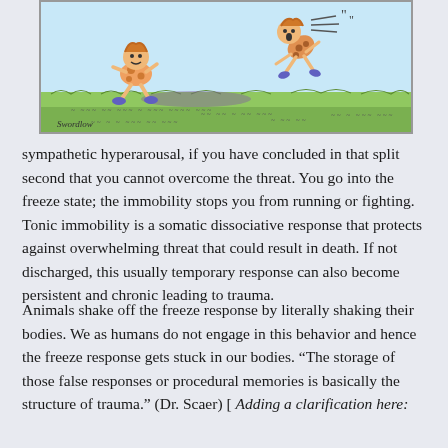[Figure (illustration): Cartoon illustration of two caveman-like children, one running away and one being kicked or flying through the air, set against a green grassy background with a light blue sky. Signed 'Swordlow' at the bottom left.]
sympathetic hyperarousal, if you have concluded in that split second that you cannot overcome the threat. You go into the freeze state; the immobility stops you from running or fighting. Tonic immobility is a somatic dissociative response that protects against overwhelming threat that could result in death. If not discharged, this usually temporary response can also become persistent and chronic leading to trauma.
Animals shake off the freeze response by literally shaking their bodies. We as humans do not engage in this behavior and hence the freeze response gets stuck in our bodies. “The storage of those false responses or procedural memories is basically the structure of trauma.” (Dr. Scaer) [ Adding a clarification here: